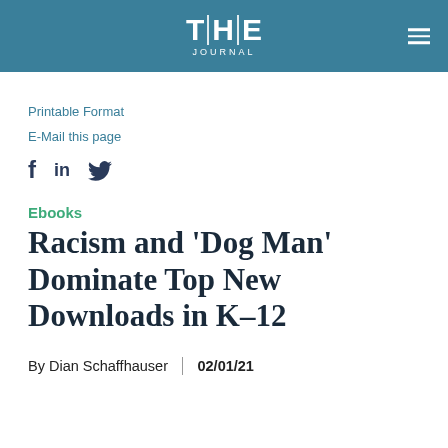THE JOURNAL
Printable Format
E-Mail this page
[Figure (other): Social media share icons: Facebook (f), LinkedIn (in), Twitter (bird)]
Ebooks
Racism and 'Dog Man' Dominate Top New Downloads in K-12
By Dian Schaffhauser | 02/01/21